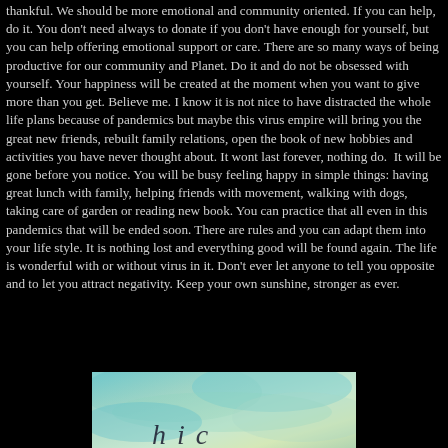thankful. We should be more emotional and community oriented. If you can help, do it. You don't need always to donate if you don't have enough for yourself, but you can help offering emotional support or care. There are so many ways of being productive for our community and Planet. Do it and do not be obsessed with yourself. Your happiness will be created at the moment when you want to give more than you get. Believe me. I know it is not nice to have distracted the whole life plans because of pandemics but maybe this virus empire will bring you the great new friends, rebuilt family relations, open the book of new hobbies and activities you have never thought about. It wont last forever, nothing do.  It will be gone before you notice. You will be busy feeling happy in simple things: having great lunch with family, helping friends with movement, walking with dogs, taking care of garden or reading new book. You can practice that all even in this pandemics that will be ended soon. There are rules and you can adapt them into your life style. It is nothing lost and everything good will be found again. The life is wonderful with or without virus in it. Don't ever let anyone to tell you opposite and to let you attract negativity. Keep your own sunshine, stronger as ever.
[Figure (photo): Partial image with teal/turquoise watercolor-like background with partial text visible at bottom showing letters that appear to start a word]